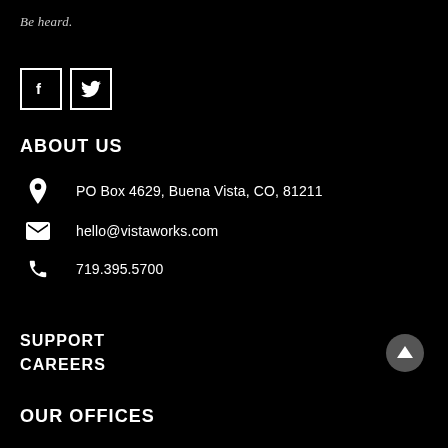Be heard.
[Figure (logo): Social media icons: Facebook (f) and Twitter (bird) in white square outlines on black background]
ABOUT US
PO Box 4629, Buena Vista, CO, 81211
hello@vistaworks.com
719.395.5700
SUPPORT
CAREERS
OUR OFFICES